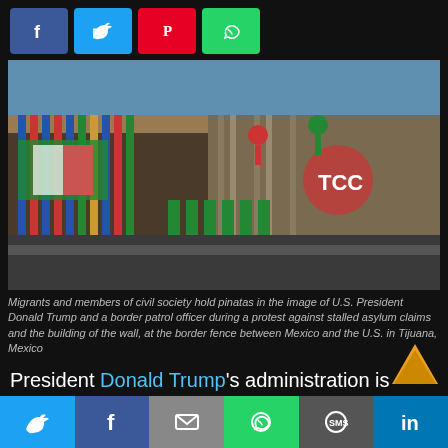[Figure (other): Social share buttons row: Facebook (blue), Twitter (cyan), Pinterest (red), WhatsApp (green)]
[Figure (photo): Migrants and members of civil society at the border fence between Mexico and the U.S. in Tijuana, Mexico, holding pinatas in the image of U.S. President Donald Trump and a border patrol officer during a protest against stalled asylum claims and the building of the wall.]
Migrants and members of civil society hold pinatas in the image of U.S. President Donald Trump and a border patrol officer during a protest against stalled asylum claims and the building of the wall, at the border fence between Mexico and the U.S. in Tijuana, Mexico
President Donald Trump's administration is pushing to finalize new immigration restrictions before his term ends in
[Figure (other): Bottom social share bar: Twitter, Facebook, Email, WhatsApp, SMS, LinkedIn]